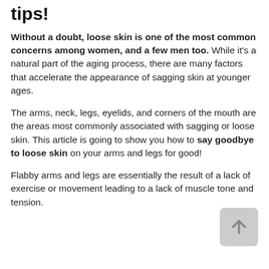tips!
Without a doubt, loose skin is one of the most common concerns among women, and a few men too. While it's a natural part of the aging process, there are many factors that accelerate the appearance of sagging skin at younger ages.
The arms, neck, legs, eyelids, and corners of the mouth are the areas most commonly associated with sagging or loose skin. This article is going to show you how to say goodbye to loose skin on your arms and legs for good!
Flabby arms and legs are essentially the result of a lack of exercise or movement leading to a lack of muscle tone and tension.